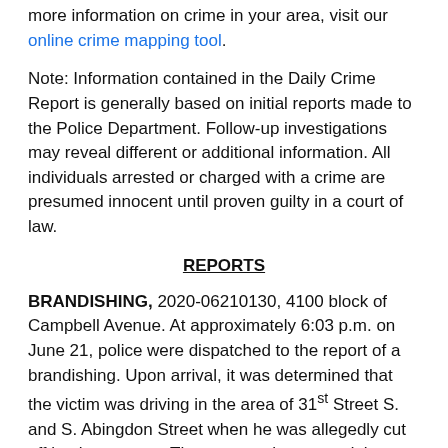more information on crime in your area, visit our online crime mapping tool.
Note: Information contained in the Daily Crime Report is generally based on initial reports made to the Police Department. Follow-up investigations may reveal different or additional information. All individuals arrested or charged with a crime are presumed innocent until proven guilty in a court of law.
REPORTS
BRANDISHING, 2020-06210130, 4100 block of Campbell Avenue. At approximately 6:03 p.m. on June 21, police were dispatched to the report of a brandishing. Upon arrival, it was determined that the victim was driving in the area of 31st Street S. and S. Abingdon Street when he was allegedly cut off by the suspect. The suspect then waved the victim in front of him and began following him. When